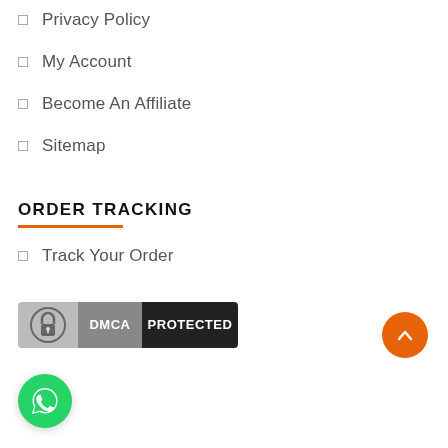Privacy Policy
My Account
Become An Affiliate
Sitemap
ORDER TRACKING
Track Your Order
[Figure (logo): DMCA Protected badge with lock icon]
[Figure (illustration): WhatsApp floating action button (green circle with phone icon)]
[Figure (other): Orange scroll-to-top button (orange circle with up arrow)]